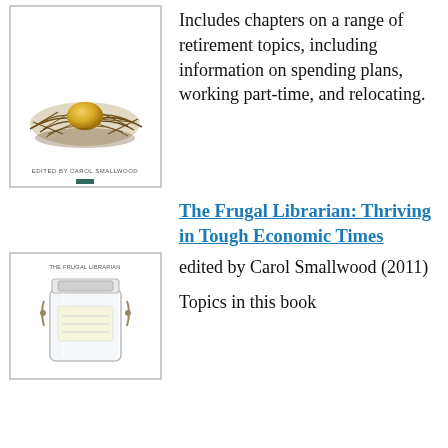[Figure (illustration): Book cover showing a golden egg in a bird's nest on a white background, with text 'EDITED BY CAROL SMALLWOOD' at bottom and a dark green square accent.]
Includes chapters on a range of retirement topics, including information on spending plans, working part-time, and relocating.
The Frugal Librarian: Thriving in Tough Economic Times
edited by Carol Smallwood (2011)
[Figure (illustration): Book cover showing a glass mason jar on a white background, with small text at top reading 'THE FRUGAL LIBRARIAN'.]
Topics in this book